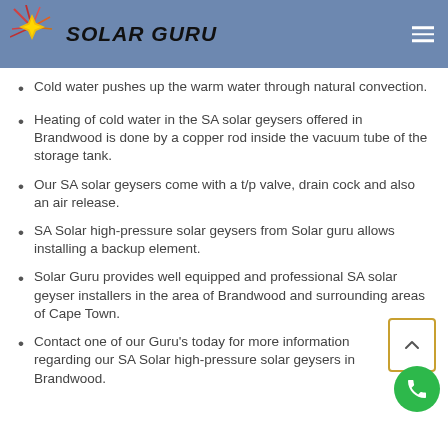[Figure (logo): Solar Guru logo with star/sunburst graphic and bold italic text 'SOLAR GURU' on blue header background]
Cold water pushes up the warm water through natural convection.
Heating of cold water in the SA solar geysers offered in Brandwood is done by a copper rod inside the vacuum tube of the storage tank.
Our SA solar geysers come with a t/p valve, drain cock and also an air release.
SA Solar high-pressure solar geysers from Solar guru allows installing a backup element.
Solar Guru provides well equipped and professional SA solar geyser installers in the area of Brandwood and surrounding areas of Cape Town.
Contact one of our Guru's today for more information regarding our SA Solar high-pressure solar geysers in Brandwood.